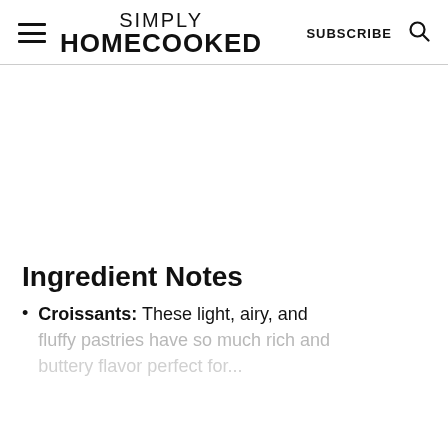SIMPLY HOMECOOKED | SUBSCRIBE
[Figure (other): Large white/blank image area placeholder in the middle of the page]
Ingredient Notes
Croissants: These light, airy, and fluffy pastries have so much rich and buttery flavor perfect for...